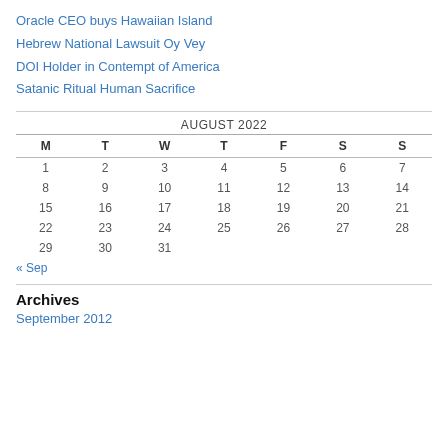Oracle CEO buys Hawaiian Island
Hebrew National Lawsuit Oy Vey
DOI Holder in Contempt of America
Satanic Ritual Human Sacrifice
| M | T | W | T | F | S | S |
| --- | --- | --- | --- | --- | --- | --- |
| 1 | 2 | 3 | 4 | 5 | 6 | 7 |
| 8 | 9 | 10 | 11 | 12 | 13 | 14 |
| 15 | 16 | 17 | 18 | 19 | 20 | 21 |
| 22 | 23 | 24 | 25 | 26 | 27 | 28 |
| 29 | 30 | 31 |  |  |  |  |
« Sep
Archives
September 2012